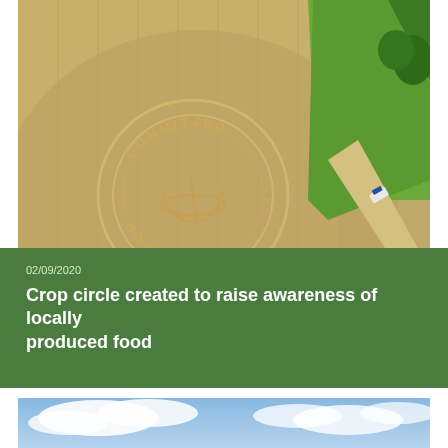[Figure (photo): Aerial drone view of a crop field with 'COMMITTED TO 50 MILES' logo/stamp circle impression visible in the crops, with green fields and a road with a vehicle visible to the right]
02/09/2020
Crop circle created to raise awareness of locally produced food
[Figure (photo): Partial view of a blue sky with white clouds]